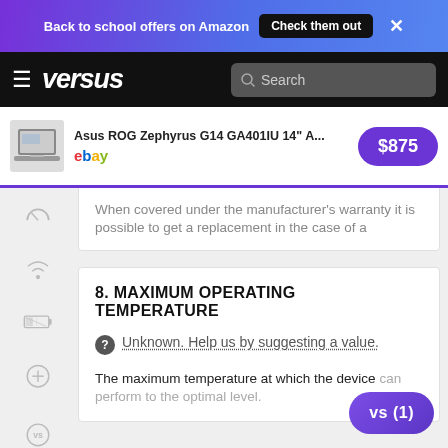Back to school offers on Amazon  Check them out  ×
versus  Search
Asus ROG Zephyrus G14 GA401IU 14" A...  $875  ebay
When covered under the manufacturer's warranty it is possible to get a replacement in the case of a
8. MAXIMUM OPERATING TEMPERATURE
Unknown. Help us by suggesting a value.
The maximum temperature at which the device can perform to the optimal level.
9. LOWEST POTENTIAL OPERATING TEMPERATURE